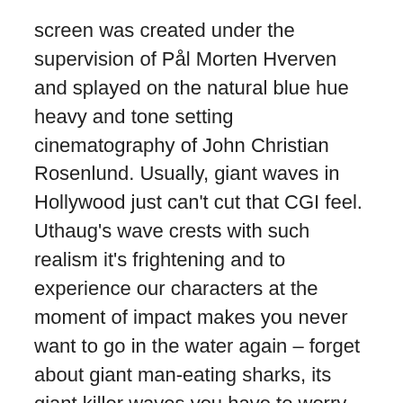screen was created under the supervision of Pål Morten Hverven and splayed on the natural blue hue heavy and tone setting cinematography of John Christian Rosenlund. Usually, giant waves in Hollywood just can't cut that CGI feel. Uthaug's wave crests with such realism it's frightening and to experience our characters at the moment of impact makes you never want to go in the water again – forget about giant man-eating sharks, its giant killer waves you have to worry about. Uthaug puts the viewer right in the path of an immense wave, capturing all the fear and intensity and the breathtaking aspects of simulating a dire situation.
Magnolia Entertainment releases the Norwegian disaster flick in Theaters and On Demand. Magnolia courtesy sent me a screener link so I am unable to comment on the video and audio quality. Also, there were no extras